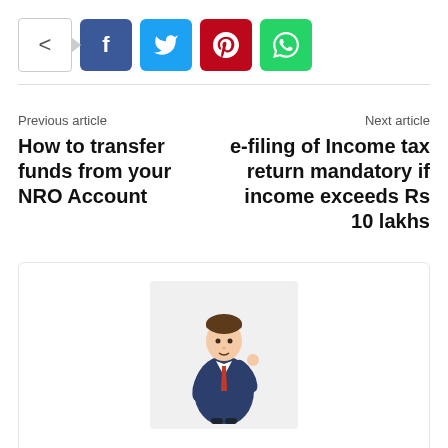[Figure (other): Social share buttons row: share icon box with arrow, Facebook (f), Twitter (bird), Pinterest (P), WhatsApp (phone) buttons]
Previous article
How to transfer funds from your NRO Account
Next article
e-filing of Income tax return mandatory if income exceeds Rs 10 lakhs
[Figure (illustration): Cartoon illustration of a businessman in a dark suit giving a thumbs up]
wealth18